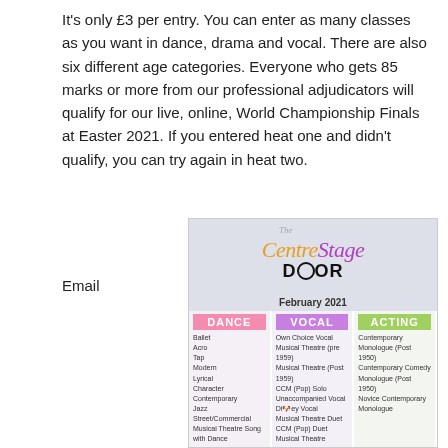It's only £3 per entry. You can enter as many classes as you want in dance, drama and vocal. There are also six different age categories. Everyone who gets 85 marks or more from our professional adjudicators will qualify for our live, online, World Championship Finals at Easter 2021. If you entered heat one and didn't qualify, you can try again in heat two.
Email
[Figure (infographic): The CentreStage Door competition flyer for February 2021, showing three columns: Dance (Ballet, Acro, Tap, Modern, Lyrical, Character, Contemporary, Jazz, Street/Commercial, Musical Theatre Song with Dance, Own Choreography, Novice Classical, Novice Cabaret), Vocal (Own Choice Vocal, Musical Theatre (pre 1959), Musical Theatre (Post 1959), CCM (Pop) Solo, Unaccompanied Vocal, Disney Vocal, Musical Theatre Duet, CCM (Pop) Duet, Musical Theatre Ensemble, Novice Musical Theatre, Novice Disney Vocal), Acting (Contemporary Monologue (Post 1950), Contemporary Comedy Monologue (Post 1950), Novice Contemporary Monologue)]